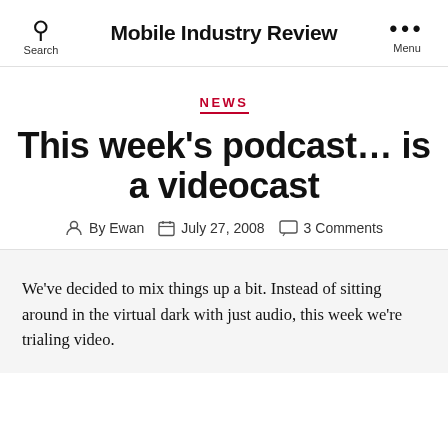Mobile Industry Review
NEWS
This week’s podcast… is a videocast
By Ewan   July 27, 2008   3 Comments
We’ve decided to mix things up a bit. Instead of sitting around in the virtual dark with just audio, this week we’re trialing video.